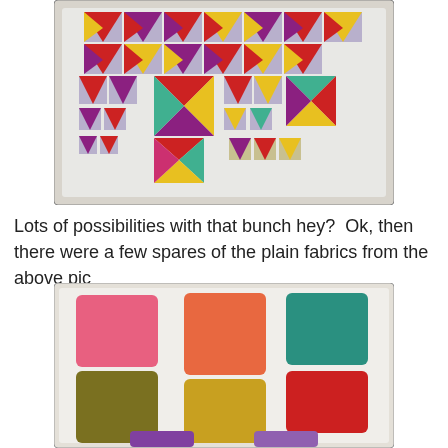[Figure (photo): Photo of a quilt top laid out on a white surface, showing many colorful patchwork blocks arranged in various patterns including flying geese and pinwheel designs, with purple, red, yellow, and teal fabrics.]
Lots of possibilities with that bunch hey?  Ok, then there were a few spares of the plain fabrics from the above pic
[Figure (photo): Photo of several plain fabric squares laid out on a white surface, showing solid colored fabrics in pink, salmon/orange, teal, olive/dark yellow, mustard yellow, red, and purple.]